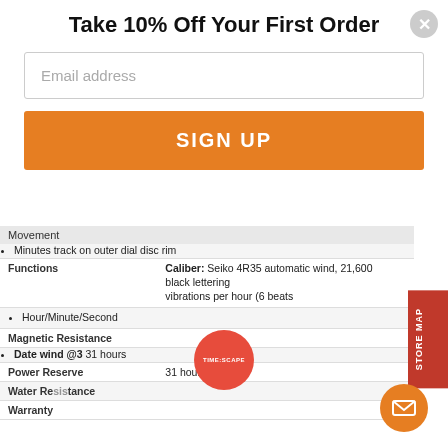[Figure (logo): TIME:SCAPE USA LLC circular logo with dotted border]
Take 10% Off Your First Order
Email address (input field placeholder)
SIGN UP (button)
Movement
Minutes track on outer dial disc rim
Caliber: Seiko 4R35 automatic wind, 21,600 vibrations per hour (6 beats
Hour/Minute/Second
Date wind @3 with automatic wind, 31 hours
|  |  |
| --- | --- |
| Functions | black lettering |
| Magnetic Resistance |  |
| Power Reserve | 31 hours |
| Water Resistance |  |
| Warranty |  |